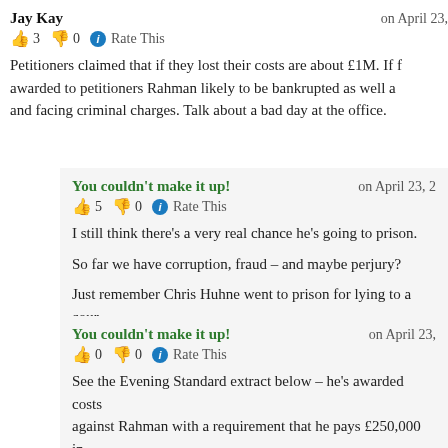Jay Kay — on April 23,
👍 3 👎 0 ℹ Rate This
Petitioners claimed that if they lost their costs are about £1M. If f awarded to petitioners Rahman likely to be bankrupted as well a and facing criminal charges. Talk about a bad day at the office.
You couldn't make it up! — on April 23, 2
👍 5 👎 0 ℹ Rate This
I still think there's a very real chance he's going to prison.
So far we have corruption, fraud – and maybe perjury?
Just remember Chris Huhne went to prison for lying to a cour
You couldn't make it up! — on April 23,
👍 0 👎 0 ℹ Rate This
See the Evening Standard extract below – he's awarded costs against Rahman with a requirement that he pays £250,000 in pronto.